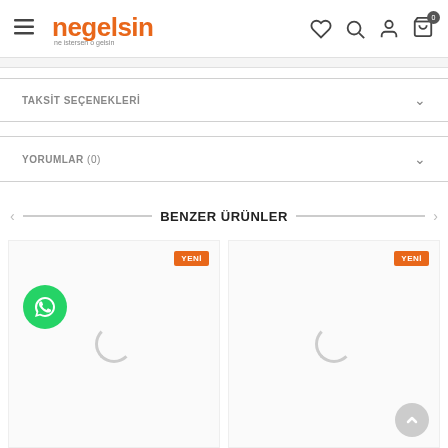negelsin — ne istersen o gelsin
TAKSİT SEÇENEKLERİ
YORUMLAR (0)
BENZER ÜRÜNLER
[Figure (screenshot): Product card 1 with YENİ badge and loading spinner]
[Figure (screenshot): Product card 2 with YENİ badge and loading spinner]